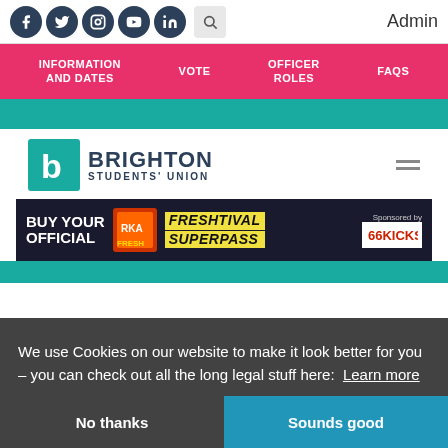Admin
[Figure (screenshot): Social media icons: Facebook, Twitter, Instagram, YouTube, LinkedIn, and a search button]
INFORMATION AND DATES | VOTE | OFFICER ROLES | FAQS
[Figure (logo): Brighton Students' Union logo with teal square containing letter b and text BRIGHTON STUDENTS' UNION]
[Figure (infographic): Banner advertisement: BUY YOUR OFFICIAL FRESHTIVAL SUPERPASS - Sponsored by 66KICKS]
We use Cookies on our website to make it look better for you – you can check out all the long legal stuff here: Learn more
No thanks
Sounds good